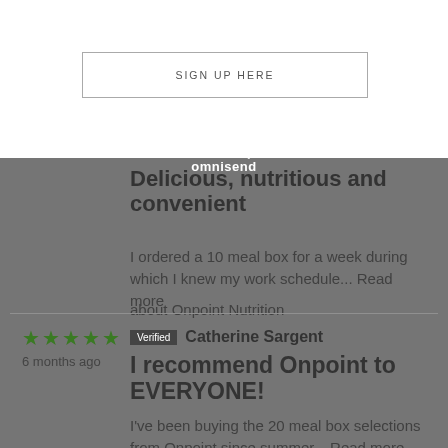[Figure (screenshot): Sign up here button with modal overlay and Powered by omnisend watermark]
Delicious, nutritious and convenient
I ordered a 10 meal box for a week during which I knew my work schedule... Read more
about Onpoint Nutrition
★★★★★ 6 months ago
Verified Catherine Sargent
I recommend Onpoint to EVERYONE!
I've been buying the 20 meal box selections from Onpoint since summer... Read more